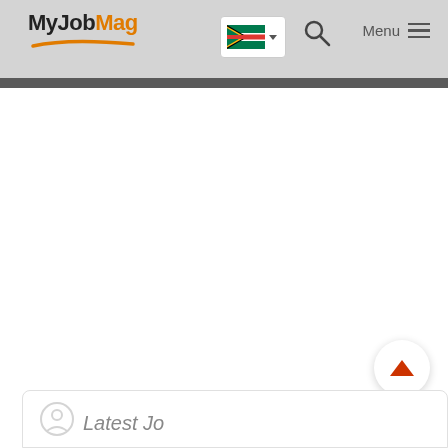MyJobMag
[Figure (logo): MyJobMag logo with orange swoosh underline, South Africa flag dropdown, search icon, and Menu hamburger icon in grey header bar]